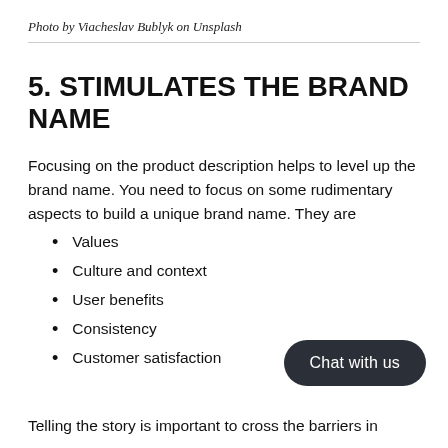Photo by Viacheslav Bublyk on Unsplash
5. STIMULATES THE BRAND NAME
Focusing on the product description helps to level up the brand name. You need to focus on some rudimentary aspects to build a unique brand name. They are
Values
Culture and context
User benefits
Consistency
Customer satisfaction
Telling the story is important to cross the barriers in